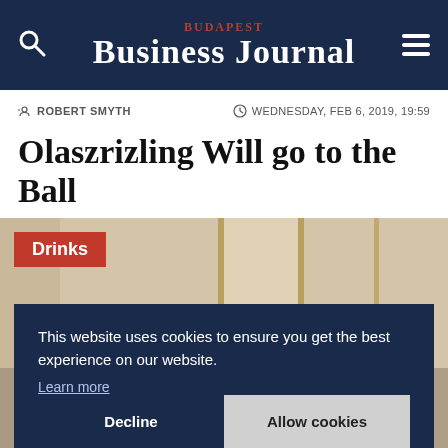BUDAPEST BUSINESS JOURNAL
ROBERT SMYTH    WEDNESDAY, FEB 6, 2019, 19:59
Olaszrizling Will go to the Ball
[Figure (photo): Photo of wine bottles on shelves with a 'Drinks' category badge overlay in red, and a cookie consent overlay in dark navy blue at the bottom.]
This website uses cookies to ensure you get the best experience on our website. Learn more
Decline    Allow cookies